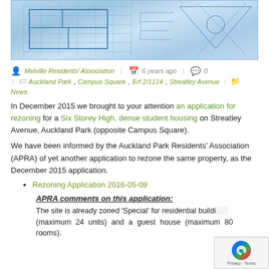[Figure (illustration): Architectural blueprint/engineering drawing background image with blue tones]
Melville Residents' Association | 6 years ago | 0
Auckland Park, Campus Square, Erf 2/1114, Streatley Avenue | News
In December 2015 we brought to your attention an application for rezoning for a Six Storey High, dense student housing on Streatley Avenue, Auckland Park (opposite Campus Square).
We have been informed by the Auckland Park Residents' Association (APRA) of yet another application to rezone the same property, as the December 2015 application.
Rezoning Application 2016-05-09
APRA comments on this application:
The site is already zoned 'Special' for residential buildi... (maximum 24 units) and a guest house (maximum 80 rooms).